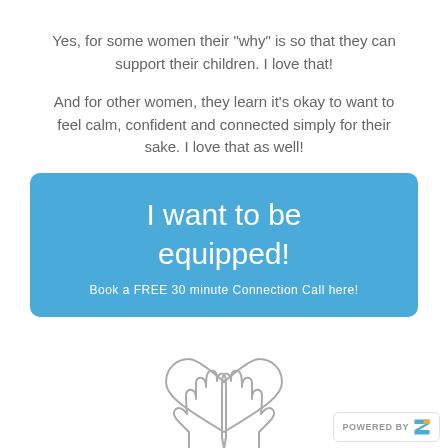Yes, for some women their "why" is so that they can support their children. I love that!
And for other women, they learn it's okay to want to feel calm, confident and connected simply for their sake. I love that as well!
I want to be equipped!
Book a FREE 30 minute Connection Call here!
[Figure (illustration): Line drawing of two hands cupping a heart shape]
POWERED BY Z